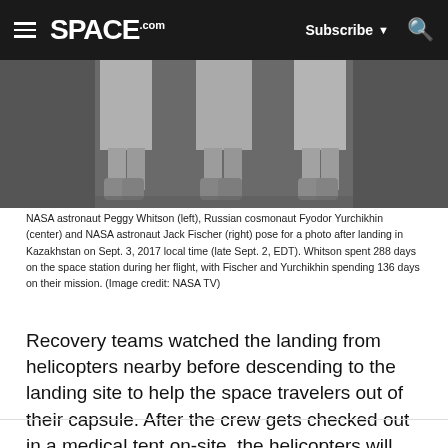SPACE.com | Subscribe | Search
[Figure (photo): Cropped black and white photo showing the lower legs and boots of three space crew members posing after landing.]
NASA astronaut Peggy Whitson (left), Russian cosmonaut Fyodor Yurchikhin (center) and NASA astronaut Jack Fischer (right) pose for a photo after landing in Kazakhstan on Sept. 3, 2017 local time (late Sept. 2, EDT). Whitson spent 288 days on the space station during her flight, with Fischer and Yurchikhin spending 136 days on their mission. (Image credit: NASA TV)
Recovery teams watched the landing from helicopters nearby before descending to the landing site to help the space travelers out of their capsule. After the crew gets checked out in a medical tent on-site, the helicopters will carry them back to Kazakhstan's Karaganda airport for a traditional welcoming ceremony before they board planes and head home.